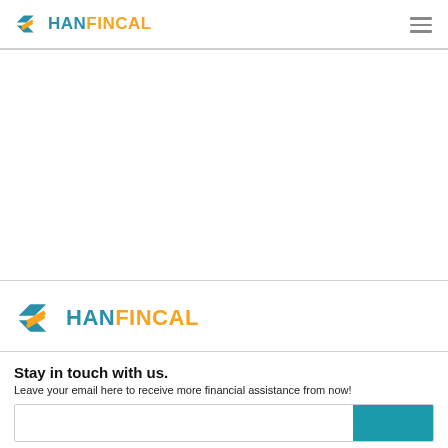HANFINCAL
[Figure (logo): HanFincal logo with diamond/arrow icon in teal and yellow, text HAN in teal and FINCAL in orange-yellow]
[Figure (logo): HanFincal logo (larger) with diamond/arrow icon in teal and yellow, text HAN in teal and FINCAL in orange-yellow]
Stay in touch with us.
Leave your email here to receive more financial assistance from now!